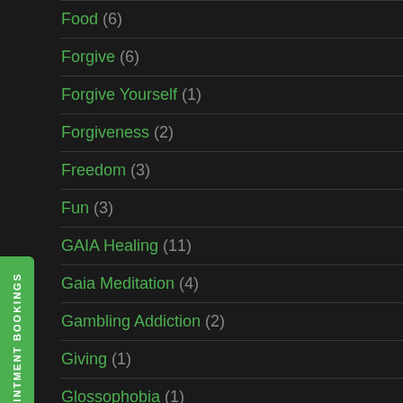Food (6)
Forgive (6)
Forgive Yourself (1)
Forgiveness (2)
Freedom (3)
Fun (3)
GAIA Healing (11)
Gaia Meditation (4)
Gambling Addiction (2)
Giving (1)
Glossophobia (1)